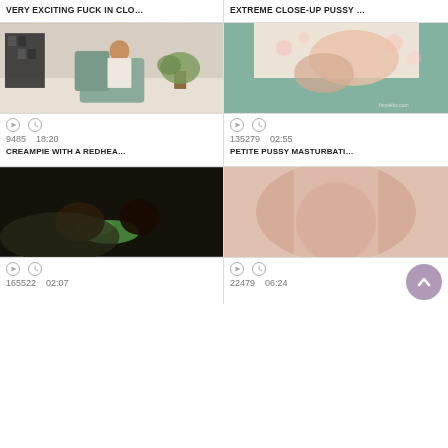VERY EXCITING FUCK IN CLO…
EXTREME CLOSE-UP PUSSY …
[Figure (photo): Redhead woman sitting in chair in room with bookshelf and plant]
[Figure (photo): Close-up of person's midsection with hands]
9485   18:20   CREAMPIE WITH A REDHEA…
135279   02:55   PETITE PUSSY MASTURBATI…
[Figure (photo): Close-up dark-skinned hands with green object]
[Figure (photo): Extreme close-up flesh tones]
165522   02:07
22479   06:24